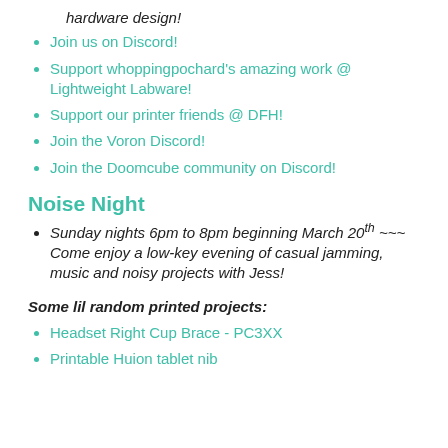hardware design!
Join us on Discord!
Support whoppingpochard's amazing work @ Lightweight Labware!
Support our printer friends @ DFH!
Join the Voron Discord!
Join the Doomcube community on Discord!
Noise Night
Sunday nights 6pm to 8pm beginning March 20th ~~~ Come enjoy a low-key evening of casual jamming, music and noisy projects with Jess!
Some lil random printed projects:
Headset Right Cup Brace - PC3XX
Printable Huion tablet nib